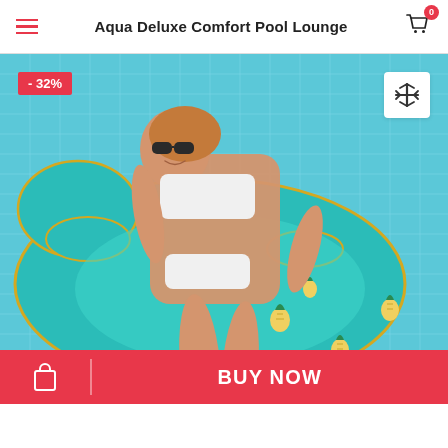Aqua Deluxe Comfort Pool Lounge
[Figure (photo): Woman in white bikini and sunglasses relaxing on a teal inflatable pool lounge float with pineapple pattern in a swimming pool. A -32% discount badge is shown in the top left corner and a zoom/move icon button in the top right.]
BUY NOW